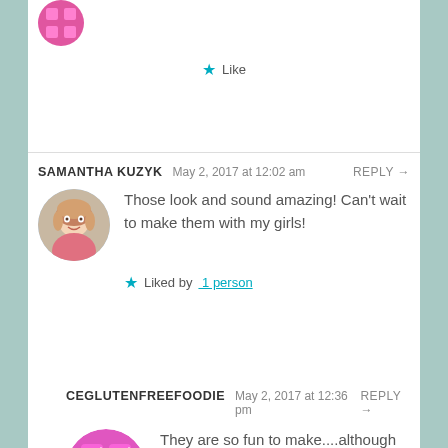Like
SAMANTHA KUZYK   May 2, 2017 at 12:02 am   REPLY →
Those look and sound amazing! Can't wait to make them with my girls!
Liked by 1 person
CEGLUTENFREEFOODIE   May 2, 2017 at 12:36 pm   REPLY →
They are so fun to make....although my kids are always competing to see who makes the biggest cookies...LOL